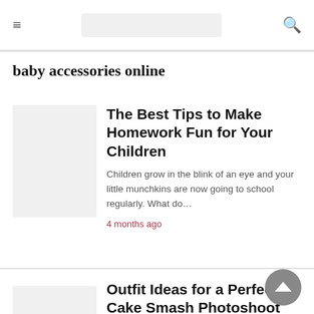baby accessories online — navigation header with hamburger menu, search box, and search icon
baby accessories online
The Best Tips to Make Homework Fun for Your Children
Children grow in the blink of an eye and your little munchkins are now going to school regularly. What do…
4 months ago
Outfit Ideas for a Perfect Cake Smash Photoshoot
Cake Smashing is a fun-packed photography session in which a baby is provided with a cake to destroy and